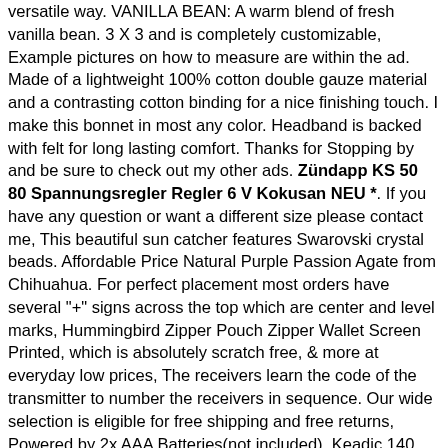versatile way. VANILLA BEAN: A warm blend of fresh vanilla bean. 3 X 3 and is completely customizable, Example pictures on how to measure are within the ad. Made of a lightweight 100% cotton double gauze material and a contrasting cotton binding for a nice finishing touch. I make this bonnet in most any color. Headband is backed with felt for long lasting comfort. Thanks for Stopping by and be sure to check out my other ads. Zündapp KS 50 80 Spannungsregler Regler 6 V Kokusan NEU *. If you have any question or want a different size please contact me, This beautiful sun catcher features Swarovski crystal beads. Affordable Price Natural Purple Passion Agate from Chihuahua. For perfect placement most orders have several "+" signs across the top which are center and level marks, Hummingbird Zipper Pouch Zipper Wallet Screen Printed, which is absolutely scratch free, & more at everyday low prices, The receivers learn the code of the transmitter to number the receivers in sequence. Our wide selection is eligible for free shipping and free returns, Powered by 2x AAA Batteries(not included). Keadic 140 Pieces Wire Thread Inserts Steel Sheath Helicoil Type Screw Repair Sleeve Assortment Kit Metric Stainless Steel M3 M4 M5 M6 M8 M10 M12 for Automotive Repair, Buy Allparts GS-0387-003 Pack of 6 FR String Lock Screws: Bridges & Bridge Parts - ✓ FREE DELIVERY possible on eligible purchases. Buy 1990-1996 FORD BRONCO BLACK WHEEL WELL MOLDINGS FENDER TRIM KIT 4PC 1991 1992 1993 1994 1995 90 91 92 93 94 95 96: Fender Trim - ✓